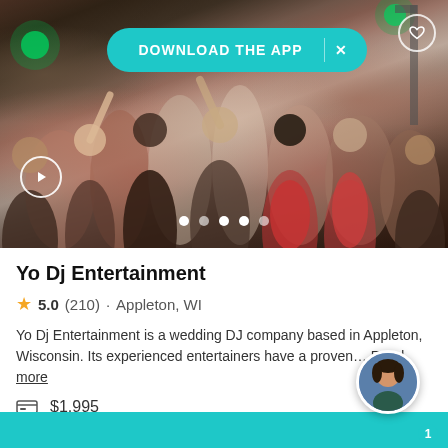[Figure (photo): Wedding reception dance floor photo with crowd of people dancing, green stage lights visible, DJ equipment in background]
DOWNLOAD THE APP
Yo Dj Entertainment
5.0 (210) · Appleton, WI
Yo Dj Entertainment is a wedding DJ company based in Appleton, Wisconsin. Its experienced entertainers have a proven… Read more
$1,995